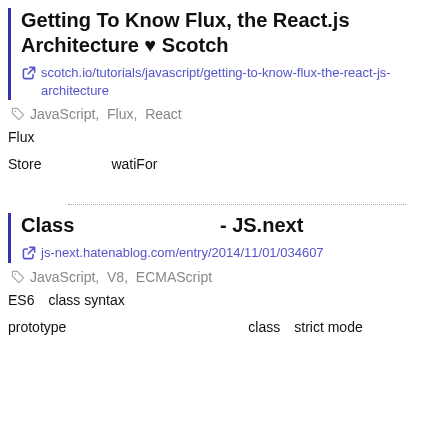Getting To Know Flux, the React.js Architecture ♥ Scotch
scotch.io/tutorials/javascript/getting-to-know-flux-the-react-js-architecture
JavaScript,  Flux,  React
Flux
Store　　　　　watiFor
Class　　　　　　　 - JS.next
js-next.hatenablog.com/entry/2014/11/01/034607
JavaScript,  V8,  ECMAScript
ES6　class syntax
prototype　　　　　　　　　　　　　class　strict mode